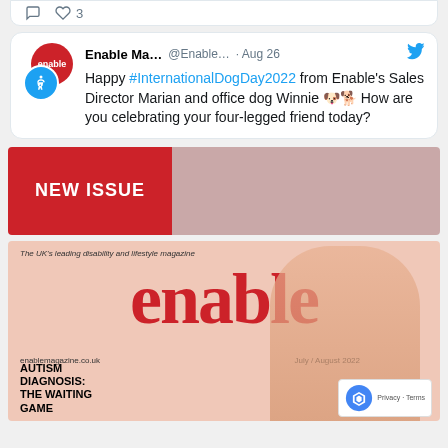[Figure (screenshot): Twitter/social media like and comment icons row with heart count of 3]
[Figure (screenshot): Tweet from Enable Magazine (@Enable...) dated Aug 26 with Twitter bird icon, Enable Magazine profile picture (red circle with 'enable' text) and accessibility icon (blue circle with person symbol). Tweet text: Happy #InternationalDogDay2022 from Enable's Sales Director Marian and office dog Winnie 🐶🐕 How are you celebrating your four-legged friend today?]
[Figure (infographic): NEW ISSUE banner with red left section containing white bold text 'NEW ISSUE' and muted pink right section]
[Figure (photo): Enable magazine cover - July/August issue. The UK's leading disability and lifestyle magazine. Large red 'enable' masthead. Website enablemagazine.co.uk. Headlines: AUTISM DIAGNOSIS: THE WAITING GAME. Cover features a blonde woman.]